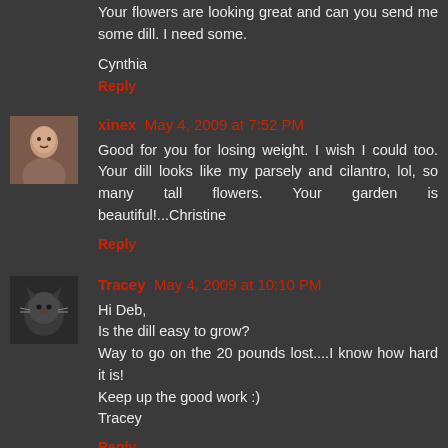Your flowers are looking great and can you send me some dill. I need some.

Cynthia
Reply
xinex May 4, 2009 at 7:52 PM
Good for you for losing weight. I wish I could too. Your dill looks like my parsely and cilantro, lol, so many tall flowers. Your garden is beautiful!...Christine
Reply
Tracey May 4, 2009 at 10:10 PM
Hi Deb,
Is the dill easy to grow?
Way to go on the 20 pounds lost....I know how hard it is!
Keep up the good work :)
Tracey
Reply